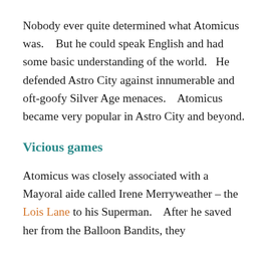Nobody ever quite determined what Atomicus was.    But he could speak English and had some basic understanding of the world.   He defended Astro City against innumerable and oft-goofy Silver Age menaces.    Atomicus became very popular in Astro City and beyond.
Vicious games
Atomicus was closely associated with a Mayoral aide called Irene Merryweather – the Lois Lane to his Superman.    After he saved her from the Balloon Bandits, they